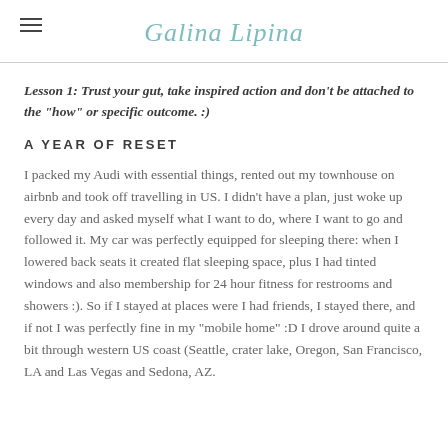Galina Lipina
Lesson 1: Trust your gut, take inspired action and don't be attached to the "how" or specific outcome. :)
A YEAR OF RESET
I packed my Audi with essential things, rented out my townhouse on airbnb and took off travelling in US. I didn't have a plan, just woke up every day and asked myself what I want to do, where I want to go and followed it. My car was perfectly equipped for sleeping there: when I lowered back seats it created flat sleeping space, plus I had tinted windows and also membership for 24 hour fitness for restrooms and showers :). So if I stayed at places were I had friends, I stayed there, and if not I was perfectly fine in my "mobile home" :D I drove around quite a bit through western US coast (Seattle, crater lake, Oregon, San Francisco, LA and Las Vegas and Sedona, AZ.